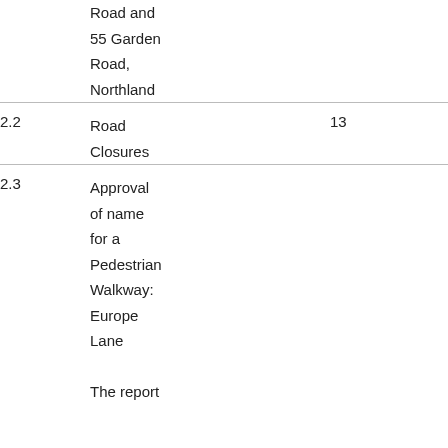|  | Title | Page |
| --- | --- | --- |
|  | Road and 55 Garden Road, Northland |  |
| 2.2 | Road Closures | 13 |
| 2.3 | Approval of name for a Pedestrian Walkway: Europe Lane

The report |  |